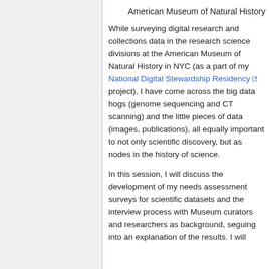American Museum of Natural History
While surveying digital research and collections data in the research science divisions at the American Museum of Natural History in NYC (as a part of my National Digital Stewardship Residency project), I have come across the big data hogs (genome sequencing and CT scanning) and the little pieces of data (images, publications), all equally important to not only scientific discovery, but as nodes in the history of science.
In this session, I will discuss the development of my needs assessment surveys for scientific datasets and the interview process with Museum curators and researchers as background, seguing into an explanation of the results. I will